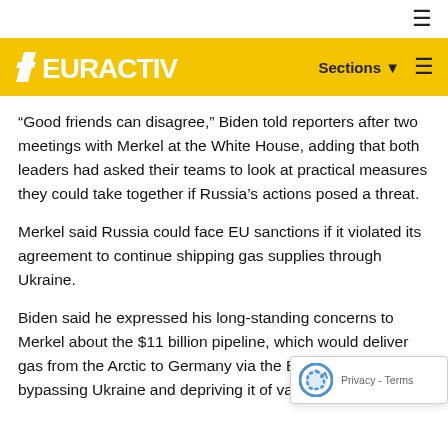EURACTIV
“Good friends can disagree,” Biden told reporters after two meetings with Merkel at the White House, adding that both leaders had asked their teams to look at practical measures they could take together if Russia’s actions posed a threat.
Merkel said Russia could face EU sanctions if it violated its agreement to continue shipping gas supplies through Ukraine.
Biden said he expressed his long-standing concerns to Merkel about the $11 billion pipeline, which would deliver gas from the Arctic to Germany via the Baltic Sea, bypassing Ukraine and depriving it of valuable transit fees.